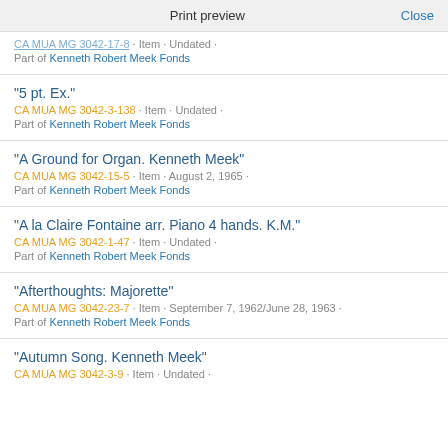Print preview  Close
CA MUA MG 3042-17-8 · Item · Undated ·
Part of Kenneth Robert Meek Fonds
“5 pt. Ex.”
CA MUA MG 3042-3-138 · Item · Undated ·
Part of Kenneth Robert Meek Fonds
“A Ground for Organ. Kenneth Meek”
CA MUA MG 3042-15-5 · Item · August 2, 1965 ·
Part of Kenneth Robert Meek Fonds
“A la Claire Fontaine arr. Piano 4 hands. K.M.”
CA MUA MG 3042-1-47 · Item · Undated ·
Part of Kenneth Robert Meek Fonds
“Afterthoughts: Majorette”
CA MUA MG 3042-23-7 · Item · September 7, 1962/June 28, 1963 ·
Part of Kenneth Robert Meek Fonds
“Autumn Song. Kenneth Meek”
CA MUA MG 3042-3-9 · Item · Undated ·